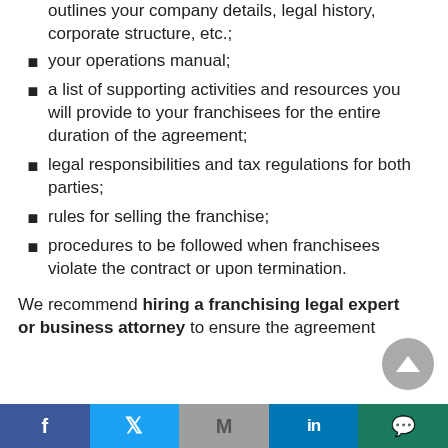outlines your company details, legal history, corporate structure, etc.;
your operations manual;
a list of supporting activities and resources you will provide to your franchisees for the entire duration of the agreement;
legal responsibilities and tax regulations for both parties;
rules for selling the franchise;
procedures to be followed when franchisees violate the contract or upon termination.
We recommend hiring a franchising legal expert or business attorney to ensure the agreement